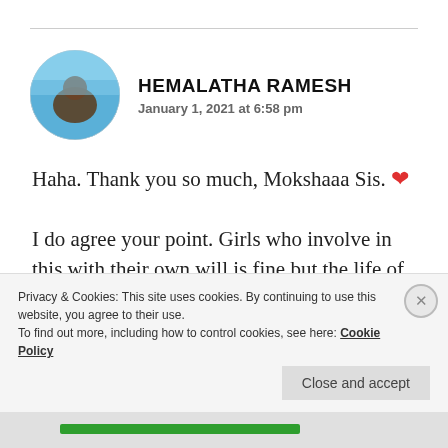[Figure (photo): Circular avatar photo of a person, appears to show someone with blue sky background]
HEMALATHA RAMESH
January 1, 2021 at 6:58 pm
Haha. Thank you so much, Mokshaaa Sis. ❤️
I do agree your point. Girls who involve in this with their own will is fine but the life of few proportion of who are pulled into this is a question mark isn't it? It's hard to escape from th...
Privacy & Cookies: This site uses cookies. By continuing to use this website, you agree to their use.
To find out more, including how to control cookies, see here: Cookie Policy
Close and accept